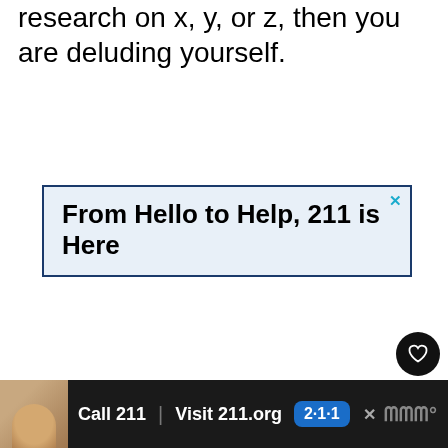research on x, y, or z, then you are deluding yourself.
[Figure (screenshot): Advertisement box with dark blue border and light blue background showing text 'From Hello to Help, 211 is Here' with a close (X) button in the top right corner]
[Figure (screenshot): Bottom banner advertisement for 211 service on dark background, showing a child photo, 'Call 211', 'Visit 211.org', a blue '2·1·1' badge, a close button, and a logo on the right]